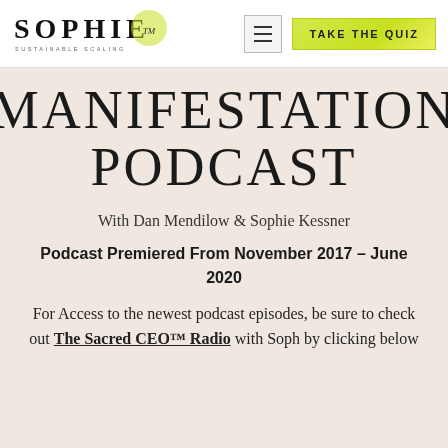SOPHIE | SUSTAINABLE SCALING — Navigation bar with hamburger menu and TAKE THE QUIZ button
MANIFESTATION PODCAST
With Dan Mendilow & Sophie Kessner
Podcast Premiered From November 2017 – June 2020
For Access to the newest podcast episodes, be sure to check out The Sacred CEO™ Radio with Soph by clicking below